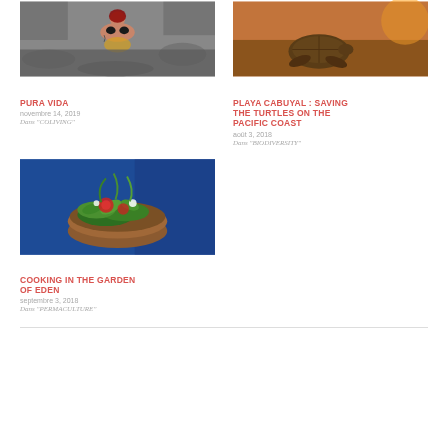[Figure (photo): Person in bikini lying on rocks, top view]
PURA VIDA
novembre 14, 2019
Dans "COLIVING"
[Figure (photo): Sea turtle on beach at sunset/golden light]
PLAYA CABUYAL : SAVING THE TURTLES ON THE PACIFIC COAST
août 3, 2018
Dans "BIODIVERSITY"
[Figure (photo): Bowl of fresh herbs and flowers on blue background]
COOKING IN THE GARDEN OF EDEN
septembre 3, 2018
Dans "PERMACULTURE"